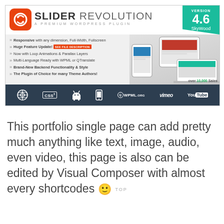[Figure (screenshot): Slider Revolution WordPress plugin promotional banner showing logo, version 4.6 SkyWood badge, feature list, device screenshots, and logos for WordPress, CSS3, Android, mobile, WPML.org, Vimeo, YouTube]
This portfolio single page can add pretty much anything like text, image, audio, even video, this page is also can be edited by Visual Composer with almost every shortcodes 🙂 TOP